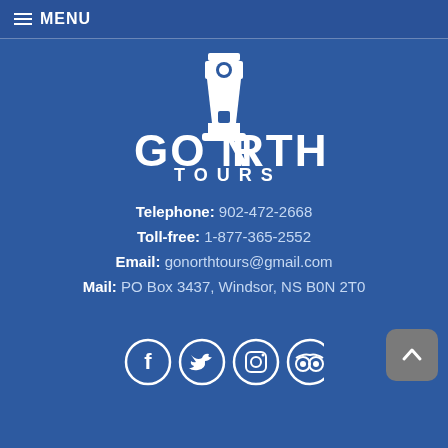≡ MENU
[Figure (logo): Go North Tours logo with lighthouse icon, white text on blue background]
Telephone: 902-472-2668
Toll-free: 1-877-365-2552
Email: gonorthtours@gmail.com
Mail: PO Box 3437, Windsor, NS B0N 2T0
[Figure (illustration): Social media icons: Facebook, Twitter, Instagram, TripAdvisor - white circular outlined icons on blue background]